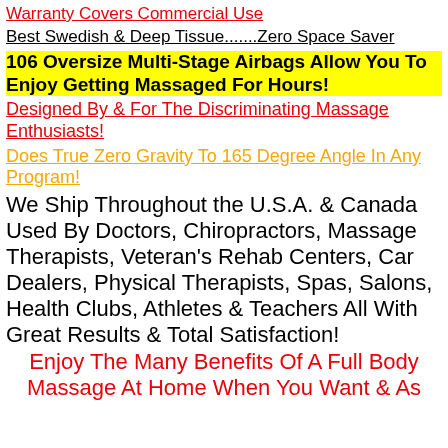Warranty Covers Commercial Use
Best Swedish & Deep Tissue.......Zero Space Saver
106 Oversize Multi-Stage Airbags Allow You To Enjoy Getting Massaged For Hours!
Designed By & For The Discriminating Massage Enthusiasts!
Does True Zero Gravity To 165 Degree Angle In Any Program!
We Ship Throughout the U.S.A. & Canada Used By Doctors, Chiropractors, Massage Therapists, Veteran's Rehab Centers, Car Dealers, Physical Therapists, Spas, Salons, Health Clubs, Athletes & Teachers All With Great Results & Total Satisfaction!
Enjoy The Many Benefits Of A Full Body Massage At Home When You Want & As